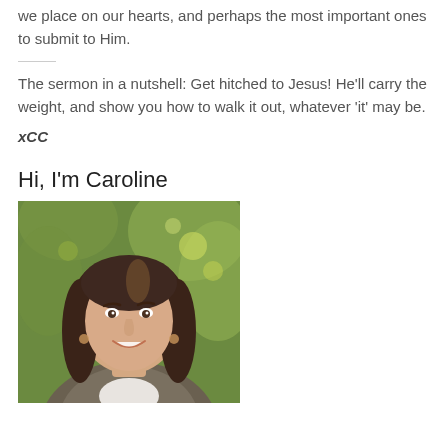we place on our hearts, and perhaps the most important ones to submit to Him.
The sermon in a nutshell: Get hitched to Jesus! He'll carry the weight, and show you how to walk it out, whatever 'it' may be.
xCC
Hi, I'm Caroline
[Figure (photo): Portrait photo of Caroline, a woman with long brown hair, smiling, with green foliage in the background.]